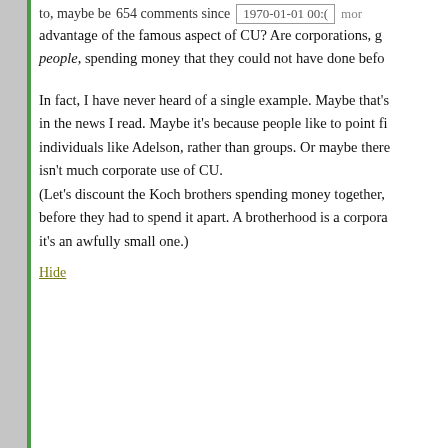to, maybe because 654 comments since [1970-01-01 00:0] more advantage of the famous aspect of CU? Are corporations, groups, people, spending money that they could not have done before?
In fact, I have never heard of a single example. Maybe that's in the news I read. Maybe it's because people like to point fingers at individuals like Adelson, rather than groups. Or maybe there isn't much corporate use of CU.
(Let's discount the Koch brothers spending money together, before they had to spend it apart. A brotherhood is a corporation, it's an awfully small one.)
Hide
[Figure (other): User avatar for 'bluto' — a teal/green geometric pattern avatar icon]
bluto says:
August 11, 2016 at 8:20 pm ~new~
Well, Open Secrets reports about a half billion is spent in 2012 from groups that had a 501(c)4 (the most common type of corporation that takes advantage